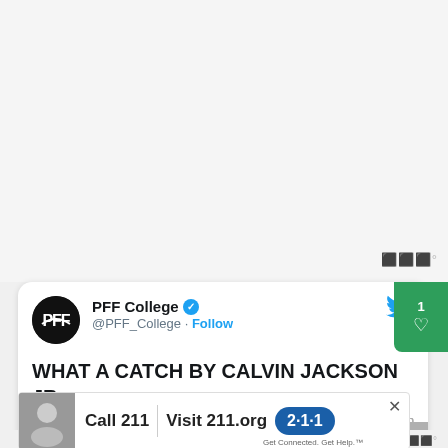[Figure (screenshot): Top blank/white area of a mobile screen, light gray background]
[Figure (screenshot): Tweet card from PFF College (@PFF_College) with Twitter bird icon, verified badge, Follow link. Tweet text: WHAT A CATCH BY CALVIN JACKSON JR. with shocked/cap emoji. Partial video thumbnail visible at bottom. Green badge overlay with like count. 211 advertisement bar at bottom of card.]